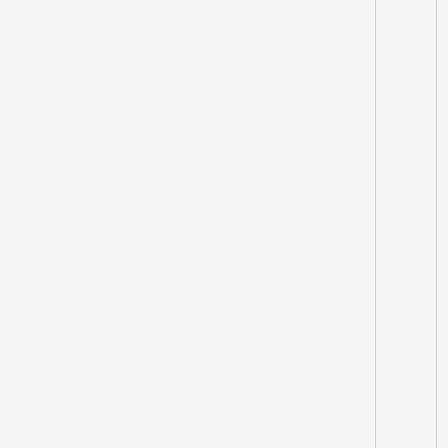|  |  |  | Template:Featur |
|  |  |  | Template:Featur |
|  |  |  | Template:Featur |
|  |  |  | Template:Featur |
|  |  |  | Template:Featur |
|  |  |  | Template:Featur |
|  |  |  | Template:Featur |
|  |  |  | Template:Featur |
|  |  |  | Template:Featur |
|  |  |  | Template:Featur |
|  |  |  | Template:Featur |
|  |  |  | Template:Featur |
|  |  |  | Template:Featur |
|  |  |  | Template:Featur |
|  |  |  | Template:Featur |
|  |  |  | Template:Featur |
|  |  |  | Template:Featur |
|  |  |  | Template:Featur |
|  |  |  | Template:Featur |
|  |  |  | Template:Featur |
|  |  |  | Template:Featur |
|  |  |  | Template:Featur |
|  |  |  | Template:Featur |
|  |  |  | Template:Featur |